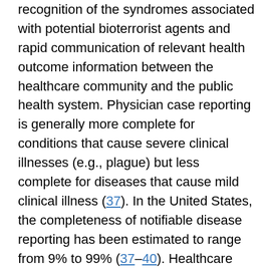recognition of the syndromes associated with potential bioterrorist agents and rapid communication of relevant health outcome information between the healthcare community and the public health system. Physician case reporting is generally more complete for conditions that cause severe clinical illnesses (e.g., plague) but less complete for diseases that cause mild clinical illness (37). In the United States, the completeness of notifiable disease reporting has been estimated to range from 9% to 99% (37–40). Healthcare providers lack awareness of reporting requirements, and changes in surveillance case definitions may also lead to underreporting of notifiable diseases (37). In addition, state- and disease-specific differences in surveillance practices or in the amount of resources applied to surveillance efforts affect how actively cases are solicited or identified. Increasing awareness